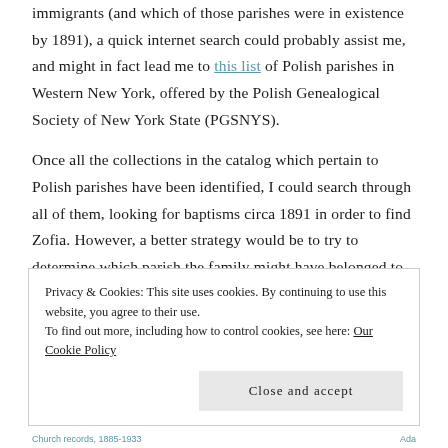immigrants (and which of those parishes were in existence by 1891), a quick internet search could probably assist me, and might in fact lead me to this list of Polish parishes in Western New York, offered by the Polish Genealogical Society of New York State (PGSNYS).

Once all the collections in the catalog which pertain to Polish parishes have been identified, I could search through all of them, looking for baptisms circa 1891 in order to find Zofia. However, a better strategy would be to try to determine which parish the family might have belonged to based on their address in city directories around the time of Zofia's birth. Cutting to the chase here, let's take a look at records from St. Adalbert's Basilica in Buffalo, which we find in the list of available
Privacy & Cookies: This site uses cookies. By continuing to use this website, you agree to their use.
To find out more, including how to control cookies, see here: Our Cookie Policy
Close and accept
Church records, 1885-1933                                                                                          Ada